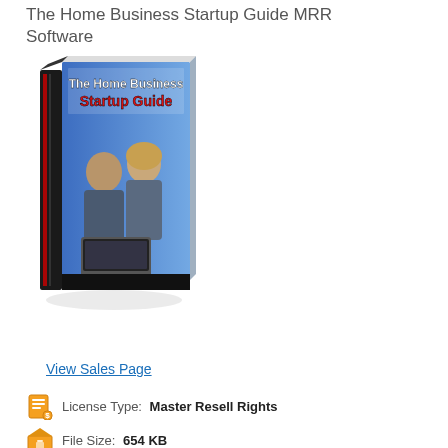The Home Business Startup Guide MRR Software
[Figure (illustration): 3D book cover image of 'The Home Business Startup Guide' showing two people at a laptop on a blue background]
View Sales Page
License Type: Master Resell Rights
File Size: 654 KB
File Type: ZIP